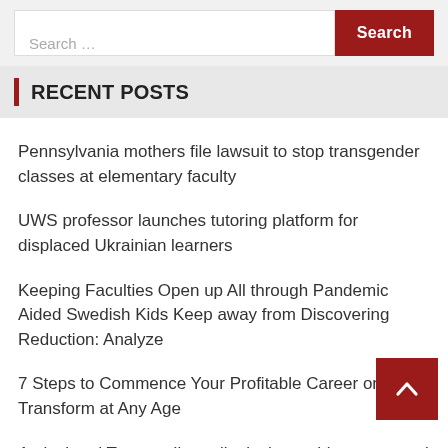[Figure (screenshot): Search bar with text input and dark red Search button]
RECENT POSTS
Pennsylvania mothers file lawsuit to stop transgender classes at elementary faculty
UWS professor launches tutoring platform for displaced Ukrainian learners
Keeping Faculties Open up All through Pandemic Aided Swedish Kids Keep away from Discovering Reduction: Analyze
7 Steps to Commence Your Profitable Career or Task Transform at Any Age
An isolated Texas college district is teaching personnel how to shoot weapons : NPR